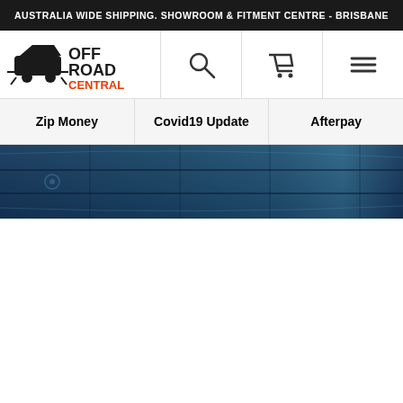AUSTRALIA WIDE SHIPPING. SHOWROOM & FITMENT CENTRE - BRISBANE
[Figure (logo): Off Road Central logo with 4WD vehicle silhouette, text OFF ROAD CENTRAL with red and black lettering]
[Figure (other): Search icon (magnifying glass)]
[Figure (other): Shopping cart icon]
[Figure (other): Hamburger menu icon (three horizontal lines)]
Zip Money
Covid19 Update
Afterpay
[Figure (photo): Aerial or close-up view of a dark blue 4WD/off-road vehicle roof rack or tray, with blurred background]